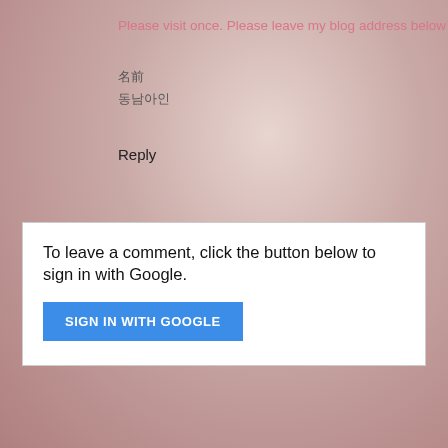Please visit once. Please leave my blog address below
名前
동남아인
Reply
To leave a comment, click the button below to sign in with Google.
SIGN IN WITH GOOGLE
Home
View web version
HTDW
adhillon
Powered by Blogger.